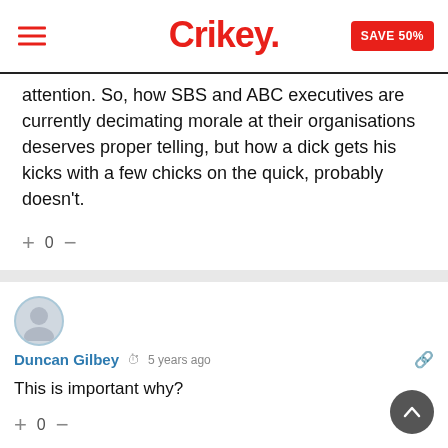Crikey. SAVE 50%
attention. So, how SBS and ABC executives are currently decimating morale at their organisations deserves proper telling, but how a dick gets his kicks with a few chicks on the quick, probably doesn’t.
Duncan Gilbey • 5 years ago
This is important why?